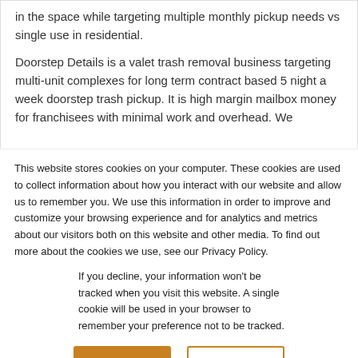in the space while targeting multiple monthly pickup needs vs single use in residential.
Doorstep Details is a valet trash removal business targeting multi-unit complexes for long term contract based 5 night a week doorstep trash pickup. It is high margin mailbox money for franchisees with minimal work and overhead. We
This website stores cookies on your computer. These cookies are used to collect information about how you interact with our website and allow us to remember you. We use this information in order to improve and customize your browsing experience and for analytics and metrics about our visitors both on this website and other media. To find out more about the cookies we use, see our Privacy Policy.
If you decline, your information won't be tracked when you visit this website. A single cookie will be used in your browser to remember your preference not to be tracked.
Accept
Decline